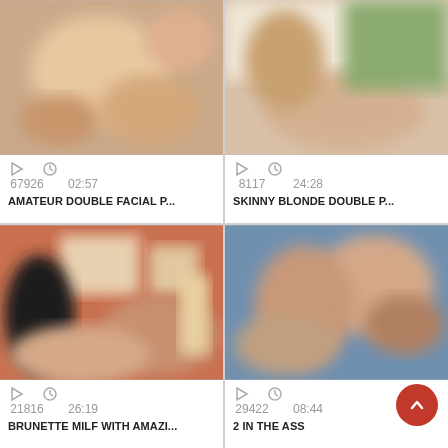[Figure (screenshot): Video thumbnail 1 - blurred adult content]
67926   02:57
AMATEUR DOUBLE FACIAL P...
[Figure (screenshot): Video thumbnail 2 - blurred adult content]
8117   24:28
SKINNY BLONDE DOUBLE P...
[Figure (screenshot): Video thumbnail 3 - blurred adult content]
21816   26:19
BRUNETTE MILF WITH AMAZI...
[Figure (screenshot): Video thumbnail 4 - blurred adult content]
29422   08:44
2 IN THE ASS